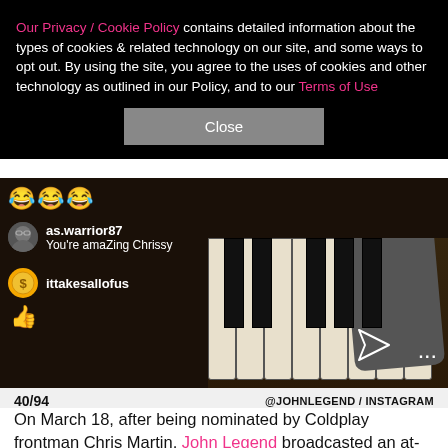Our Privacy / Cookie Policy contains detailed information about the types of cookies & related technology on our site, and some ways to opt out. By using the site, you agree to the uses of cookies and other technology as outlined in our Policy, and to our Terms of Use
Close
[Figure (screenshot): Screenshot of an Instagram Live video showing someone playing piano keys, with comments overlaid on the left: laugh emojis, a user 'as.warrior87' with comment 'You're amaZing Chrissy', and 'ittakesallofus' with a thumbs up emoji. A send/share icon and ellipsis are visible at the bottom right.]
40/94   @JOHNLEGEND / INSTAGRAM
On March 18, after being nominated by Coldplay frontman Chris Martin, John Legend broadcasted an at-home concert on Instagram Live. Wife Chrissy Teigen